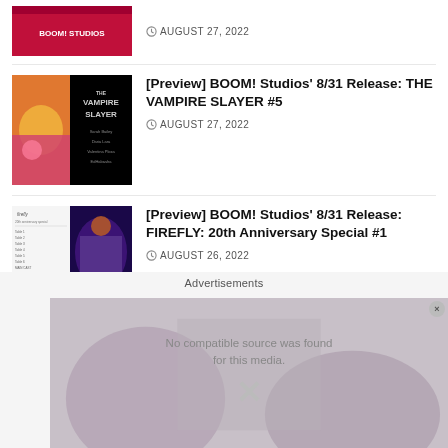[Figure (photo): Thumbnail image for article about BOOM! Studios 8/31 Release, pink/red background]
AUGUST 27, 2022
[Figure (photo): Thumbnail for The Vampire Slayer #5 comic book, black background with orange/pink artwork on left, white text on right]
[Preview] BOOM! Studios' 8/31 Release: THE VAMPIRE SLAYER #5
AUGUST 27, 2022
[Figure (photo): Thumbnail for Firefly: 20th Anniversary Special #1, showing table of contents page and illustrated cover]
[Preview] BOOM! Studios' 8/31 Release: FIREFLY: 20th Anniversary Special #1
AUGUST 26, 2022
Advertisements
[Figure (screenshot): Video player with error message: No compatible source was found for this media. Shows an X icon on a blurred background.]